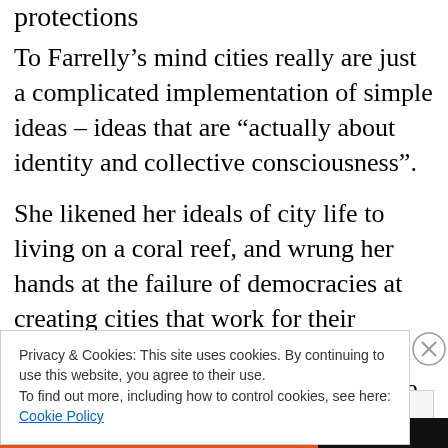protections
To Farrelly’s mind cities really are just a complicated implementation of simple ideas – ideas that are “actually about identity and collective consciousness”.
She likened her ideals of city life to living on a coral reef, and wrung her hands at the failure of democracies at creating cities that work for their citizens, and for the aspirations and responsibilities those citizens conceive.
Privacy & Cookies: This site uses cookies. By continuing to use this website, you agree to their use.
To find out more, including how to control cookies, see here:
Cookie Policy
Close and accept